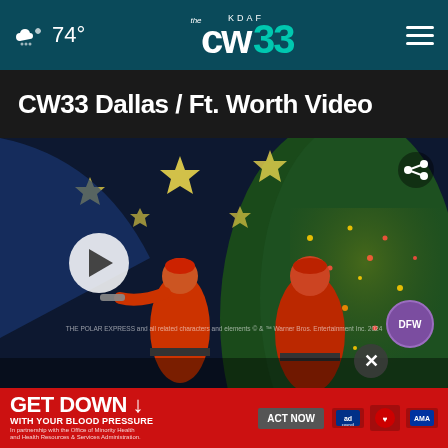☁ 74° KDAF CW33 ≡
CW33 Dallas / Ft. Worth Video
[Figure (screenshot): Video thumbnail showing Christmas decorations — red elf/Santa figurines playing trumpets in front of a decorated Christmas tree with lights, star ornaments hanging above. A play button is overlaid in the lower left. A share icon appears in the upper right. A DFW badge (purple circle) is visible lower right. Small disclaimer text appears near the bottom.]
[Figure (infographic): GET DOWN WITH YOUR BLOOD PRESSURE advertisement banner in red. Includes 'ACT NOW' button, ad council logo, American Heart Association logo, and AMA logo. Fine print: In partnership with the Office of Minority Health and Health Resources & Services Administration.]